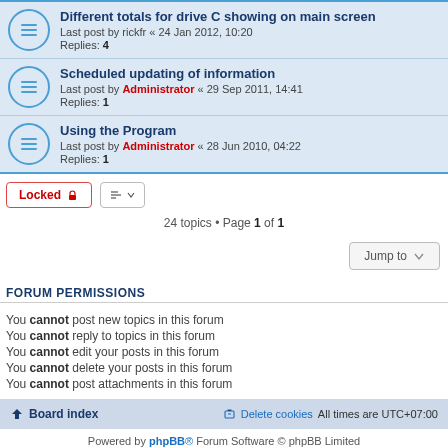Different totals for drive C showing on main screen
Last post by rickfr « 24 Jan 2012, 10:20
Replies: 4
Scheduled updating of information
Last post by Administrator « 29 Sep 2011, 14:41
Replies: 1
Using the Program
Last post by Administrator « 28 Jun 2010, 04:22
Replies: 1
Locked | [sort icon]
24 topics • Page 1 of 1
Jump to
FORUM PERMISSIONS
You cannot post new topics in this forum
You cannot reply to topics in this forum
You cannot edit your posts in this forum
You cannot delete your posts in this forum
You cannot post attachments in this forum
Board index | Delete cookies | All times are UTC+07:00
Powered by phpBB® Forum Software © phpBB Limited
Privacy | Terms